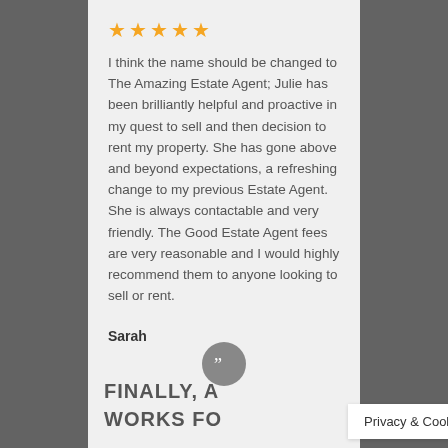★★★★★
I think the name should be changed to The Amazing Estate Agent; Julie has been brilliantly helpful and proactive in my quest to sell and then decision to rent my property. She has gone above and beyond expectations, a refreshing change to my previous Estate Agent. She is always contactable and very friendly. The Good Estate Agent fees are very reasonable and I would highly recommend them to anyone looking to sell or rent.
Sarah
[Figure (illustration): Quotation mark icon in a grey circle]
FINALLY, A... WORKS FO...
Privacy & Cookies Policy